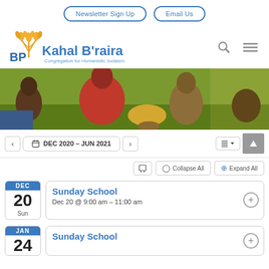Newsletter Sign Up | Email Us
[Figure (logo): Kahal B'raira - Congregation for Humanistic Judaism logo with wheat/plant graphic in gold and blue]
[Figure (photo): Group of people sitting on grass outdoors, viewed from behind]
< DEC 2020 – JUN 2021 >
Collapse All   Expand All
Sunday School
Dec 20 @ 9:00 am – 11:00 am
Sunday School